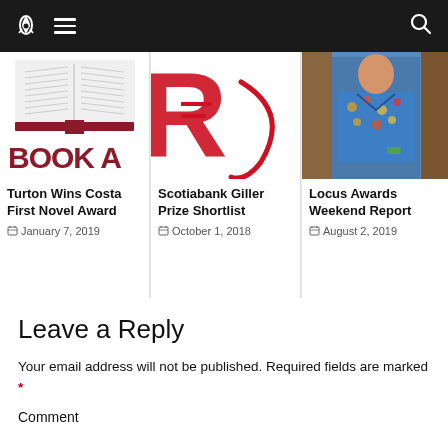Site header with logo, menu icon, and search icon
[Figure (illustration): Book cover thumbnail showing open book with dark red spine, text 'BOOK A' visible]
Turton Wins Costa First Novel Award
January 7, 2019
[Figure (logo): Giller Prize logo partial showing 'R' and red curved swoosh]
Scotiabank Giller Prize Shortlist
October 1, 2018
[Figure (photo): Photo of a person wearing a colorful Hawaiian shirt standing indoors]
Locus Awards Weekend Report
August 2, 2019
Leave a Reply
Your email address will not be published. Required fields are marked *
Comment